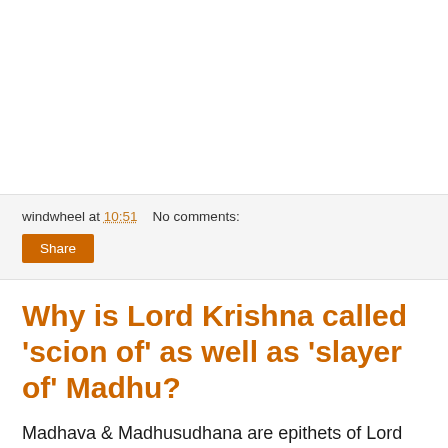windwheel at 10:51    No comments:
Share
Why is Lord Krishna called 'scion of' as well as 'slayer of' Madhu?
Madhava & Madhusudhana are epithets of Lord Krishna. Madhu, in Sanskrit, corresponds to mead in English. The 'Madhu-shala' is the pub. However, high caste Hindus began to avoid alcohol at some early date and so Madhu has the meaning of honey. It is a term of endearment. Since Krishna is beautiful and beloved it is natural that he be called 'the defeater of Honey in the competition of Sweetness' (Madhusudhana) though he can also be called 'scion of